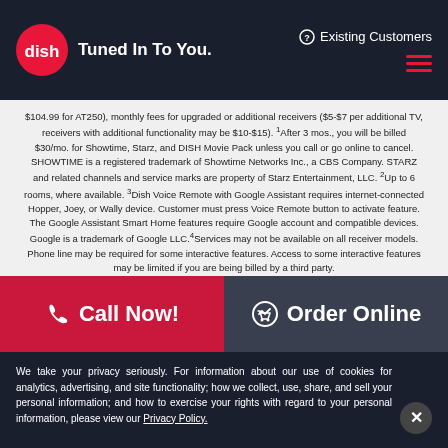DISH — Tuned In To You. | Existing Customers
$104.99 for AT250), monthly fees for upgraded or additional receivers ($5-$7 per additional TV, receivers with additional functionality may be $10-$15). ¹After 3 mos., you will be billed $30/mo. for Showtime, Starz, and DISH Movie Pack unless you call or go online to cancel. SHOWTIME is a registered trademark of Showtime Networks Inc., a CBS Company. STARZ and related channels and service marks are property of Starz Entertainment, LLC. ²Up to 6 rooms, where available. ³Dish Voice Remote with Google Assistant requires internet-connected Hopper, Joey, or Wally device. Customer must press Voice Remote button to activate feature. The Google Assistant Smart Home features require Google account and compatible devices. Google is a trademark of Google LLC.⁴Services may not be available on all receiver models. Phone line may be required for some interactive features. Access to some interactive features may be limited if you are being billed by a third party.
📞 Call Now!
🛒 Order Online
We take your privacy seriously. For information about our use of cookies for analytics, advertising, and site functionality; how we collect, use, share, and sell your personal information; and how to exercise your rights with regard to your personal information, please view our Privacy Policy.